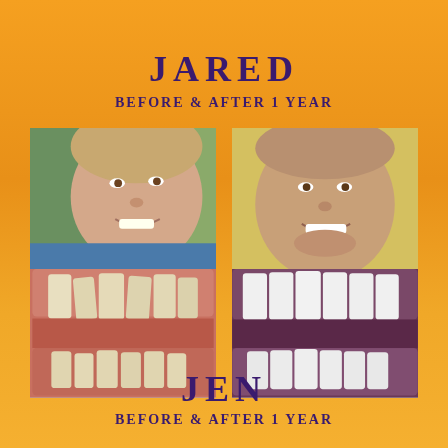JARED
BEFORE & AFTER 1 YEAR
[Figure (photo): Before and after orthodontic treatment photos of Jared: left side shows face and close-up of crowded/misaligned teeth before treatment; right side shows face and close-up of straightened, whiter teeth after 1 year of treatment.]
JEN
BEFORE & AFTER 1 YEAR